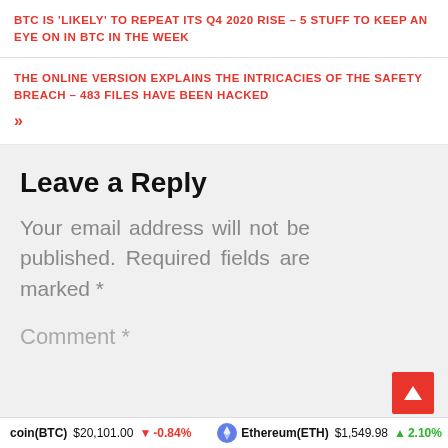BTC IS 'LIKELY' TO REPEAT ITS Q4 2020 RISE – 5 STUFF TO KEEP AN EYE ON IN BTC IN THE WEEK
THE ONLINE VERSION EXPLAINS THE INTRICACIES OF THE SAFETY BREACH – 483 FILES HAVE BEEN HACKED
»
Leave a Reply
Your email address will not be published. Required fields are marked *
Comment *
coin(BTC) $20,101.00 ↓ -0.84%   Ethereum(ETH) $1,549.98 ↑ 2.10%